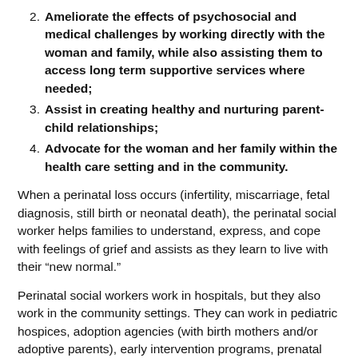2. Ameliorate the effects of psychosocial and medical challenges by working directly with the woman and family, while also assisting them to access long term supportive services where needed;
3. Assist in creating healthy and nurturing parent-child relationships;
4. Advocate for the woman and her family within the health care setting and in the community.
When a perinatal loss occurs (infertility, miscarriage, fetal diagnosis, still birth or neonatal death), the perinatal social worker helps families to understand, express, and cope with feelings of grief and assists as they learn to live with their “new normal.”
Perinatal social workers work in hospitals, but they also work in the community settings. They can work in pediatric hospices, adoption agencies (with birth mothers and/or adoptive parents), early intervention programs, prenatal drug cessation programs, prenatal diagnosis clinics, foster care, parenting education and many other settings. Some perinatal social workers provide out-patient mental health services as families adjust to medical challenges, make decisions…